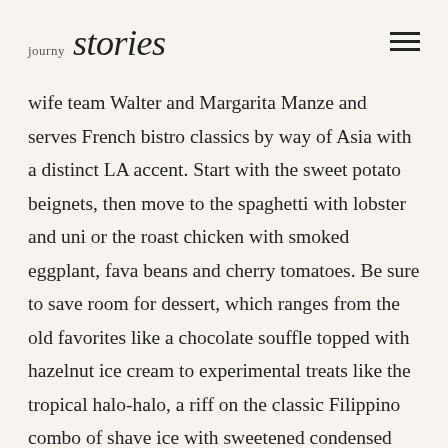journy stories
wife team Walter and Margarita Manze and serves French bistro classics by way of Asia with a distinct LA accent. Start with the sweet potato beignets, then move to the spaghetti with lobster and uni or the roast chicken with smoked eggplant, fava beans and cherry tomatoes. Be sure to save room for dessert, which ranges from the old favorites like a chocolate souffle topped with hazelnut ice cream to experimental treats like the tropical halo-halo, a riff on the classic Filippino combo of shave ice with sweetened condensed milk loaded with toppings.